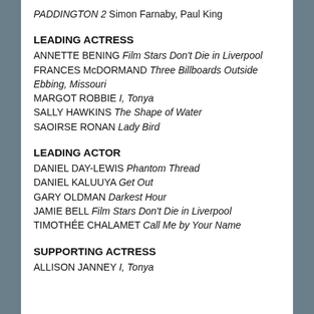PADDINGTON 2 Simon Farnaby, Paul King
LEADING ACTRESS
ANNETTE BENING Film Stars Don't Die in Liverpool
FRANCES McDORMAND Three Billboards Outside Ebbing, Missouri
MARGOT ROBBIE I, Tonya
SALLY HAWKINS The Shape of Water
SAOIRSE RONAN Lady Bird
LEADING ACTOR
DANIEL DAY-LEWIS Phantom Thread
DANIEL KALUUYA Get Out
GARY OLDMAN Darkest Hour
JAMIE BELL Film Stars Don't Die in Liverpool
TIMOTHÉE CHALAMET Call Me by Your Name
SUPPORTING ACTRESS
ALLISON JANNEY I, Tonya